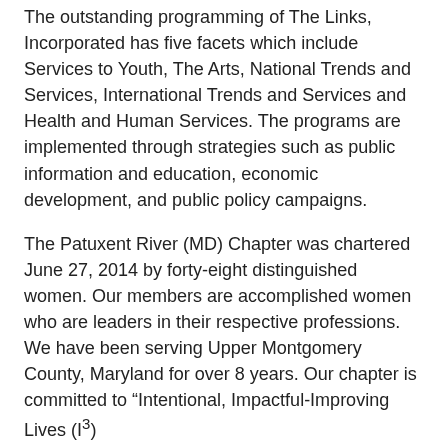The outstanding programming of The Links, Incorporated has five facets which include Services to Youth, The Arts, National Trends and Services, International Trends and Services and Health and Human Services. The programs are implemented through strategies such as public information and education, economic development, and public policy campaigns.
The Patuxent River (MD) Chapter was chartered June 27, 2014 by forty-eight distinguished women. Our members are accomplished women who are leaders in their respective professions. We have been serving Upper Montgomery County, Maryland for over 8 years. Our chapter is committed to “Intentional, Impactful-Improving Lives (I³)
We have contributed thousands of service hours and thousands of scholarship dollars to make a difference in the lives of others in Upper Montgomery County, Maryland and globally.
Thank you for your interest in the Patuxent River (MD) Chapter of The Links, Incorporated. Take a glimpse of who